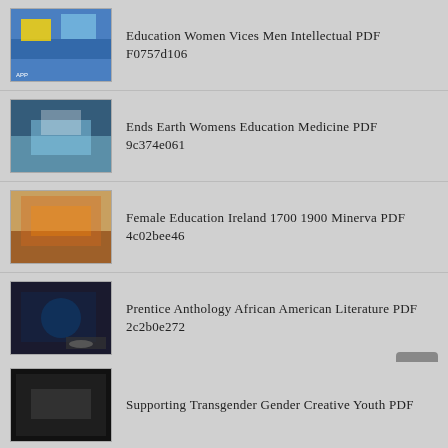Education Women Vices Men Intellectual PDF F0757d106
Ends Earth Womens Education Medicine PDF 9c374e061
Female Education Ireland 1700 1900 Minerva PDF 4c02bee46
Prentice Anthology African American Literature PDF 2c2b0e272
How Unspoil Your Child Fast PDF 4167ef221
WHEN PERSONAL WAS POLITICAL Doctors PDF Fc0c73931
Supporting Transgender Gender Creative Youth PDF